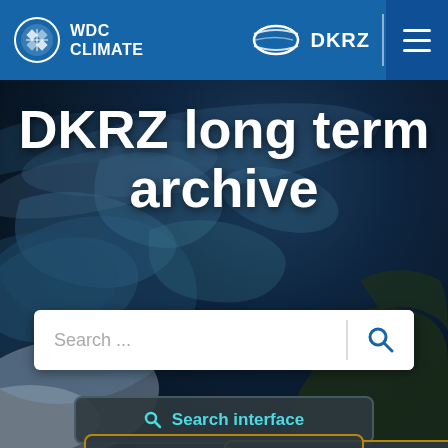[Figure (screenshot): WDC Climate and DKRZ navigation bar with logos and hamburger menu on blue background]
[Figure (photo): Earth from space background image showing ocean swirls, clouds, and landmasses in dark blue tones]
DKRZ long term archive
Search ...
Search interface
Submit data